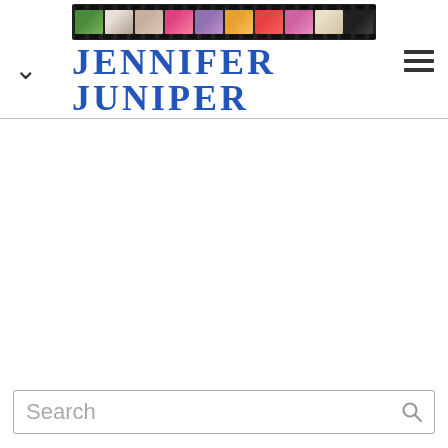[Figure (logo): Jennifer Juniper Photography logo with film strip banner above the brand name, and 'PHOTOGRAPHY' subtitle with decorative lines below]
Search